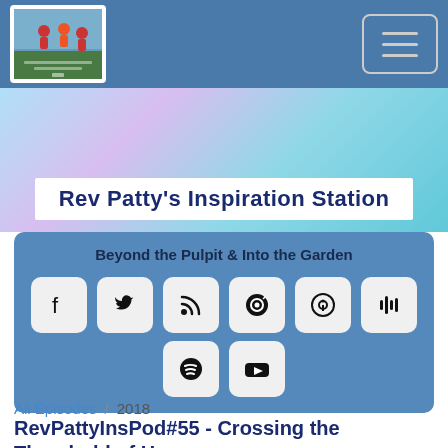[Figure (logo): Rev Patty's Inspiration Station podcast logo with red figures in a garden scene]
Rev Patty's Inspiration Station
Beyond the Pulpit & Into the Garden
[Figure (infographic): Social media icon buttons: Facebook, Twitter, RSS feed, Podbean, Apple Podcasts, Google Podcasts, Spotify, YouTube]
All Episodes / 2018
RevPattyInsPod#55 - Crossing the Threshold of H...